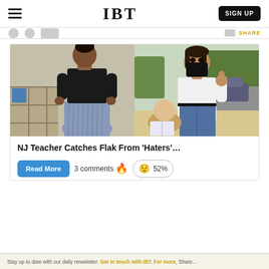IBT
[Figure (photo): Two-panel image: left panel shows a woman in a black turtleneck top and blue pleated skirt viewed from behind inside a classroom; right panel shows a woman wearing a black mask giving a thumbs up outdoors while a child reads a book nearby.]
NJ Teacher Catches Flak From 'Haters'…
Read More
3 comments 🔥
😟 52%
Stay up to date with our daily newsletter. Stay in touch with IBT. For more, Share...